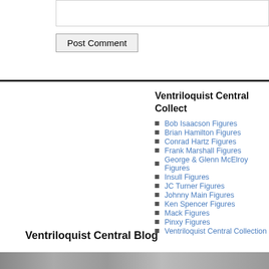[Figure (screenshot): Text input area / comment box at top of page]
Post Comment
Ventriloquist Central Collect...
Bob Isaacson Figures
Brian Hamilton Figures
Conrad Hartz Figures
Frank Marshall Figures
George & Glenn McElroy Figures
Insull Figures
JC Turner Figures
Johnny Main Figures
Ken Spencer Figures
Mack Figures
Pinxy Figures
Ventriloquist Central Collection
Ventriloquist Central Blog
[Figure (photo): Bottom strip showing partial photos at bottom of page]